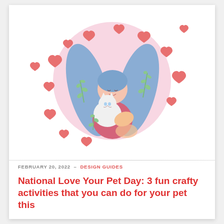[Figure (illustration): Illustration of a woman with blue hair hugging a white cat, surrounded by a pink circle background with red hearts and green leaf sprigs scattered around]
FEBRUARY 20, 2022  -  DESIGN GUIDES
National Love Your Pet Day: 3 fun crafty activities that you can do for your pet this